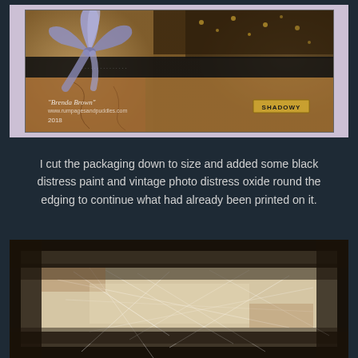[Figure (photo): A decorated craft card with a purple/lavender ribbon bow, black strip across the middle with floral patterns, aged and distressed textures in brown and gold tones, a 'SHADOWY' label in the lower right, and a watermark reading 'Brenda Brown' with website and '2018', set against a lavender background.]
I cut the packaging down to size and added some black distress paint and vintage photo distress oxide round the edging to continue what had already been printed on it.
[Figure (photo): A close-up of a distressed mixed-media surface with heavy black edges created by distress paint and oxide, a beige/cream center with cobweb-like textures and fibres, showing aged and weathered appearance with brown staining.]